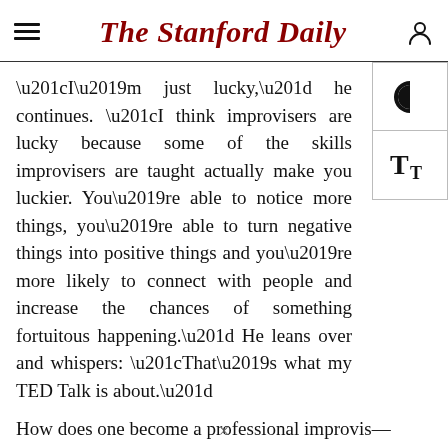The Stanford Daily
“I’m just lucky,” he continues. “I think improvisers are lucky because some of the skills improvisers are taught actually make you luckier. You’re able to notice more things, you’re able to turn negative things into positive things and you’re more likely to connect with people and increase the chances of something fortuitous happening.” He leans over and whispers: “That’s what my TED Talk is about.”
How does one become a professional improvis—